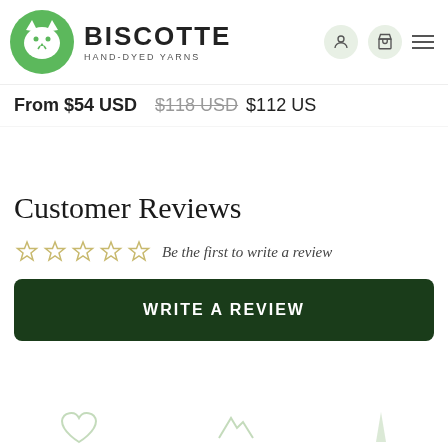BISCOTTE HAND-DYED YARNS
From $54 USD
$118 USD $112 US
Customer Reviews
Be the first to write a review
WRITE A REVIEW